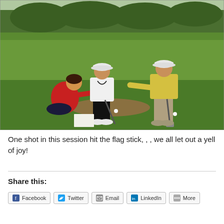[Figure (photo): Three people on a golf course. A woman in a red top kneeling on the grass, a man in a white shirt and cap holding a golf club, and an older man in a yellow polo shirt reaching out to touch the other man's back. Green fairway and trees in the background.]
One shot in this session hit the flag stick, , , we all let out a yell of joy!
Share this:
Facebook
Twitter
Email
LinkedIn
More